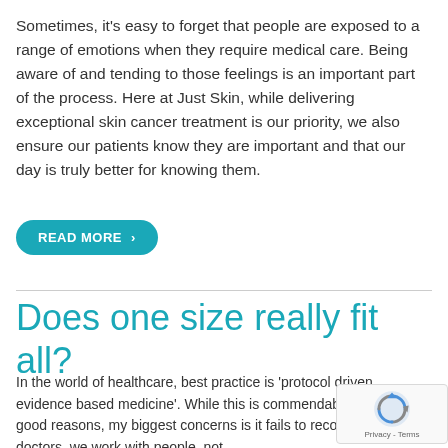Sometimes, it's easy to forget that people are exposed to a range of emotions when they require medical care. Being aware of and tending to those feelings is an important part of the process. Here at Just Skin, while delivering exceptional skin cancer treatment is our priority, we also ensure our patients know they are important and that our day is truly better for knowing them.
READ MORE ›
Does one size really fit all?
In the world of healthcare, best practice is 'protocol driven, evidence based medicine'. While this is commendable for several good reasons, my biggest concerns is it fails to recognise that, as doctors, we work with people, not...
[Figure (other): reCAPTCHA badge overlay with rotating arrows logo and Privacy - Terms text]